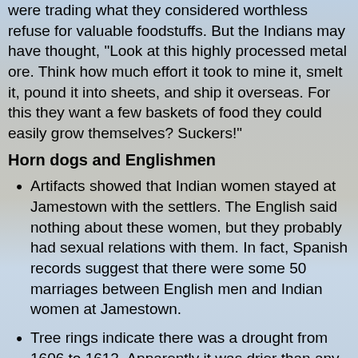were trading what they considered worthless refuse for valuable foodstuffs. But the Indians may have thought, "Look at this highly processed metal ore. Think how much effort it took to mine it, smelt it, pound it into sheets, and ship it overseas. For this they want a few baskets of food they could easily grow themselves? Suckers!"
Horn dogs and Englishmen
Artifacts showed that Indian women stayed at Jamestown with the settlers. The English said nothing about these women, but they probably had sexual relations with them. In fact, Spanish records suggest that there were some 50 marriages between English men and Indian women at Jamestown.
Tree rings indicate there was a drought from 1606 to 1612. Apparently it was drier than any other seven-year stretch in the Chesapeake area in the last 800 years. This may explain why the Indians stopped trading with the Englishmen: They didn't have any surplus food. It may also explain why the Englishman failed so miserably at growing